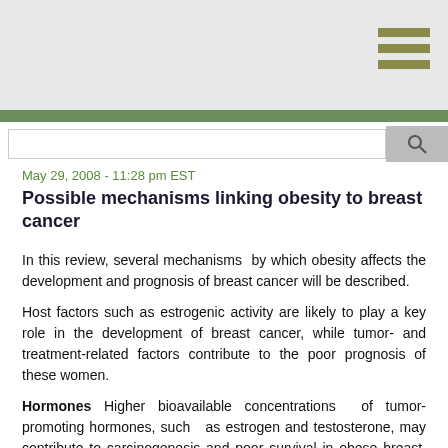May 29, 2008 - 11:28 pm EST
Possible mechanisms linking obesity to breast cancer
In this review, several mechanisms by which obesity affects the development and prognosis of breast cancer will be described.
Host factors such as estrogenic activity are likely to play a key role in the development of breast cancer, while tumor- and treatment-related factors contribute to the poor prognosis of these women.
Hormones Higher bioavailable concentrations of tumor-promoting hormones, such as estrogen and testosterone, may contribute to carcinogenesis and poor survival in obese breast cancer patients [16,17].